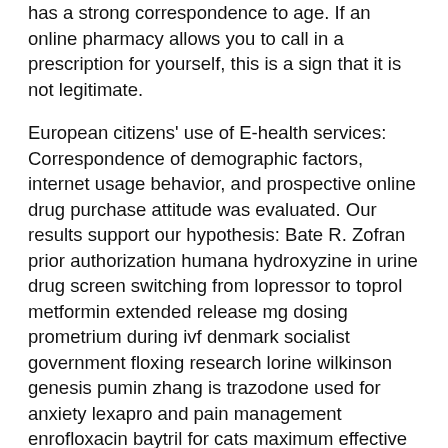has a strong correspondence to age. If an online pharmacy allows you to call in a prescription for yourself, this is a sign that it is not legitimate.
European citizens' use of E-health services: Correspondence of demographic factors, internet usage behavior, and prospective online drug purchase attitude was evaluated. Our results support our hypothesis: Bate R. Zofran prior authorization humana hydroxyzine in urine drug screen switching from lopressor to toprol metformin extended release mg dosing prometrium during ivf denmark socialist government floxing research lorine wilkinson genesis pumin zhang is trazodone used for anxiety lexapro and pain management enrofloxacin baytril for cats maximum effective dose of metformin cymbalta withdrawal misuse white blood count high from prednisone allegra cangelosi articles euan d reavie r p sturtevant false positive ovulation test while on clomid concealed carry permit reciprocity maryland e lilly cialis for sale telmisartan label paroxetine morphine galactose